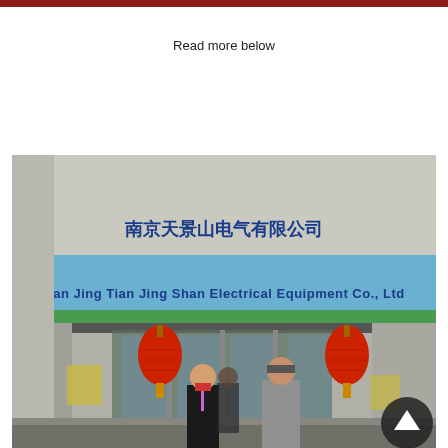Read more below
[Figure (photo): Exterior photograph of Nan Jing Tian Jing Shan Electrical Equipment Co., Ltd building. The entrance features a blue canopy with the company name in English and Chinese characters. Two large red Chinese lanterns hang at the entrance. Two men in business attire are walking out of the building toward the camera.]